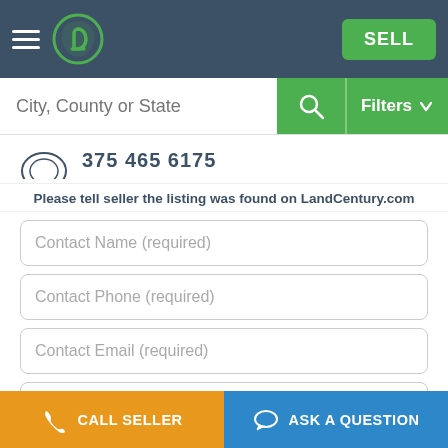LandCentury navigation bar with logo and SELL button
City, County or State
Filters
Please tell seller the listing was found on LandCentury.com
Contact Name (required)
Contact Phone (required)
Contact Email (required)
I am interested in listing LC-2006-308054. Please send me more info.
Ask a Question
CALL SELLER | ASK A QUESTION